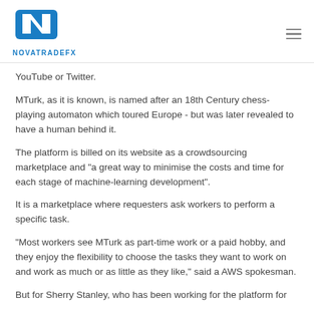NOVATRADEFX
YouTube or Twitter.
MTurk, as it is known, is named after an 18th Century chess-playing automaton which toured Europe - but was later revealed to have a human behind it.
The platform is billed on its website as a crowdsourcing marketplace and "a great way to minimise the costs and time for each stage of machine-learning development".
It is a marketplace where requesters ask workers to perform a specific task.
"Most workers see MTurk as part-time work or a paid hobby, and they enjoy the flexibility to choose the tasks they want to work on and work as much or as little as they like," said a AWS spokesman.
But for Sherry Stanley, who has been working for the platform for